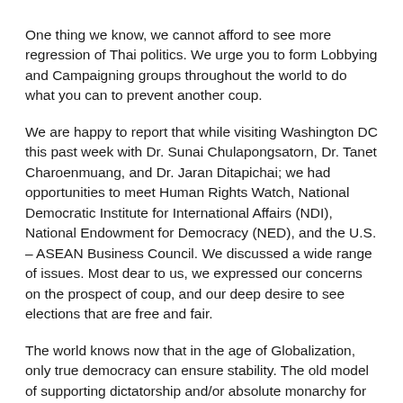One thing we know, we cannot afford to see more regression of Thai politics. We urge you to form Lobbying and Campaigning groups throughout the world to do what you can to prevent another coup.
We are happy to report that while visiting Washington DC this past week with Dr. Sunai Chulapongsatorn, Dr. Tanet Charoenmuang, and Dr. Jaran Ditapichai; we had opportunities to meet Human Rights Watch, National Democratic Institute for International Affairs (NDI), National Endowment for Democracy (NED), and the U.S. – ASEAN Business Council. We discussed a wide range of issues. Most dear to us, we expressed our concerns on the prospect of coup, and our deep desire to see elections that are free and fair.
The world knows now that in the age of Globalization, only true democracy can ensure stability. The old model of supporting dictatorship and/or absolute monarchy for stability is obsolete.